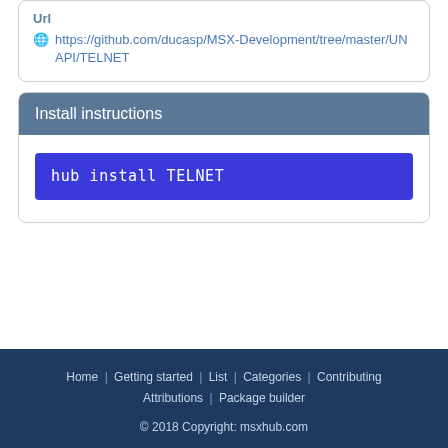Url
https://github.com/ducasp/MSX-Development/tree/master/UNAPI/TELNET
Install instructions
hub install TELNET
Home | Getting started | List | Categories | Contributing | Attributions | Package builder
© 2018 Copyright: msxhub.com